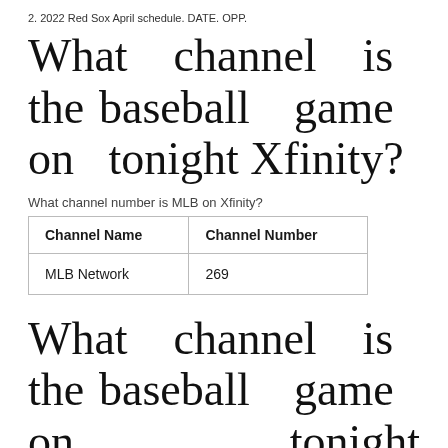2. 2022 Red Sox April schedule. DATE. OPP.
What channel is the baseball game on tonight Xfinity?
What channel number is MLB on Xfinity?
| Channel Name | Channel Number |
| --- | --- |
| MLB Network | 269 |
What channel is the baseball game on tonight spectrum?